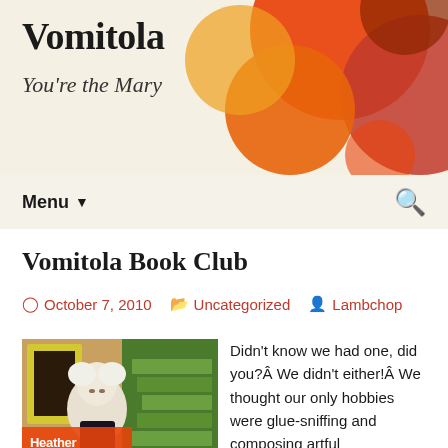Vomitola
You're the Mary
Vomitola Book Club
October 7, 2010   Uncategorized   Lambchop
[Figure (photo): Book cover for Heather Morgan, showing an illustrated character with white/blonde hair and orange text overlay on a colorful painted background]
Didn't know we had one, did you?Â We didn't either!Â We thought our only hobbies were glue-sniffing and composing artful